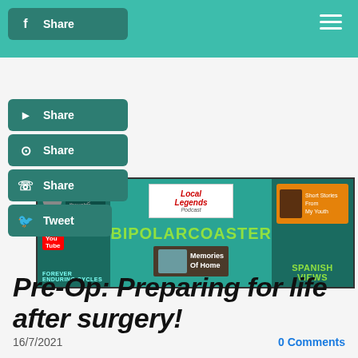Social share buttons and navigation header
f Share
Share (YouTube)
Share (Instagram)
Share (WhatsApp)
Tweet
[Figure (screenshot): Website banner showing: YouTube Blog 'Forever Enduring Cycles', Local Legends logo, BipolarCoaster text, Memories Of Home section, Spanish Views text, on teal background]
Pre-Op: Preparing for life after surgery!
16/7/2021
0 Comments